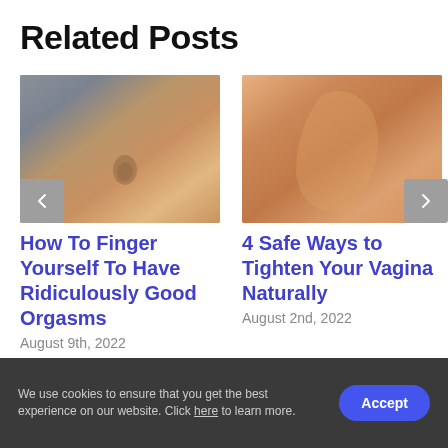Related Posts
[Figure (photo): Close-up photo of a person's abdomen and hand near waistband]
[Figure (photo): Close-up photo of a person's hand on skin, warm tone]
How To Finger Yourself To Have Ridiculously Good Orgasms
August 9th, 2022
4 Safe Ways to Tighten Your Vagina Naturally
August 2nd, 2022
We use cookies to ensure that you get the best experience on our website. Click here to learn more.